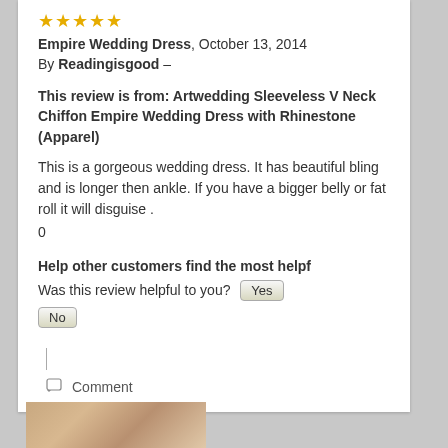[Figure (other): 5-star rating shown as filled gold stars]
Empire Wedding Dress, October 13, 2014
By Readingisgood –
This review is from: Artwedding Sleeveless V Neck Chiffon Empire Wedding Dress with Rhinestone (Apparel)
This is a gorgeous wedding dress. It has beautiful bling and is longer then ankle. If you have a bigger belly or fat roll it will disguise .
0
Help other customers find the most helpf
Was this review helpful to you? Yes
No
Comment
[Figure (photo): Partial photo visible at bottom of page showing a person]